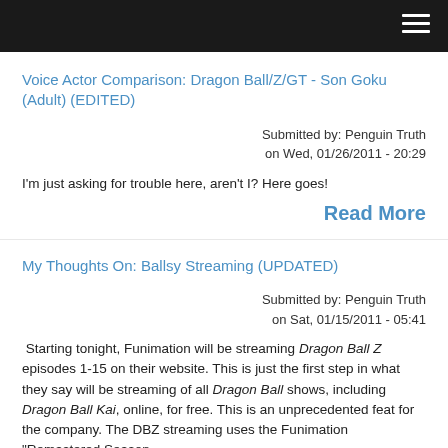Voice Actor Comparison: Dragon Ball/Z/GT - Son Goku (Adult) (EDITED)
Submitted by: Penguin Truth
on Wed, 01/26/2011 - 20:29
I'm just asking for trouble here, aren't I? Here goes!
Read More
My Thoughts On: Ballsy Streaming (UPDATED)
Submitted by: Penguin Truth
on Sat, 01/15/2011 - 05:41
Starting tonight, Funimation will be streaming Dragon Ball Z episodes 1-15 on their website. This is just the first step in what they say will be streaming of all Dragon Ball shows, including Dragon Ball Kai, online, for free. This is an unprecedented feat for the company. The DBZ streaming uses the Funimation "Remastered Season